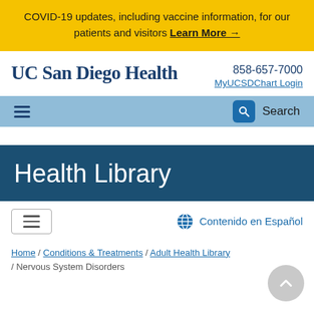COVID-19 updates, including vaccine information, for our patients and visitors Learn More →
[Figure (logo): UC San Diego Health logo text]
858-657-7000
MyUCSDChart Login
[Figure (screenshot): Navigation bar with hamburger menu icon, search icon, and Search label]
Health Library
[Figure (screenshot): Menu box and Contenido en Español globe icon button]
Home / Conditions & Treatments / Adult Health Library / Nervous System Disorders